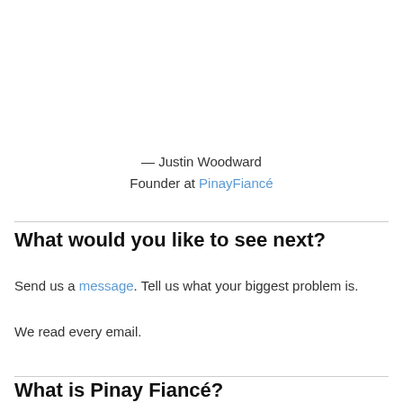— Justin Woodward
Founder at PinayFiancé
What would you like to see next?
Send us a message. Tell us what your biggest problem is.
We read every email.
What is PinayFiancé?